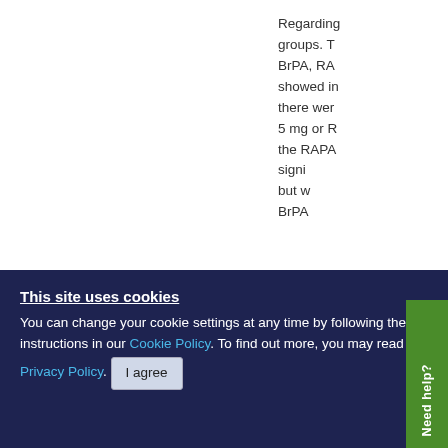Regarding groups. T BrPA, RA showed in there wer 5 mg or R the RAPA signi but w BrPA
[Figure (screenshot): Partial screenshot of a web page with a green 'Need help?' sidebar tab and a popup with a close (X) button and table/figure content]
This site uses cookies
You can change your cookie settings at any time by following the instructions in our Cookie Policy. To find out more, you may read our Privacy Policy.
I agree